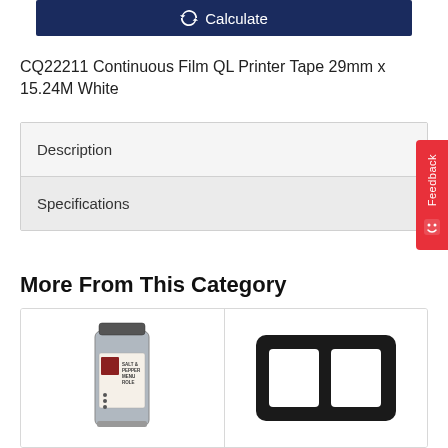[Figure (screenshot): Calculate button with recycle/refresh icon on dark navy background]
CQ22211 Continuous Film QL Printer Tape 29mm x 15.24M White
| Description |
| Specifications |
More From This Category
[Figure (photo): Product image: metal canister/tin with label reading SALT & PEPPER MENU ROLE]
[Figure (photo): Product image: black plastic card holder/frame with two rectangular openings]